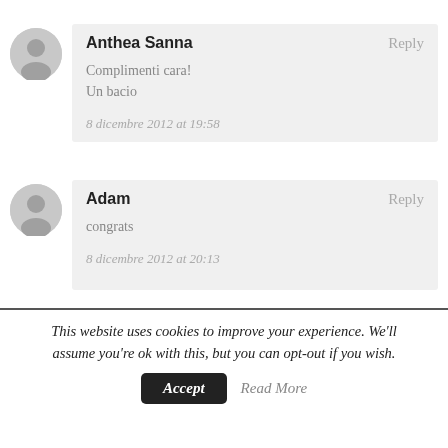Anthea Sanna
Reply
Complimenti cara!
Un bacio
8 dicembre 2012 at 19:58
Adam
Reply
congrats
8 dicembre 2012 at 20:13
This website uses cookies to improve your experience. We'll assume you're ok with this, but you can opt-out if you wish.
Accept
Read More